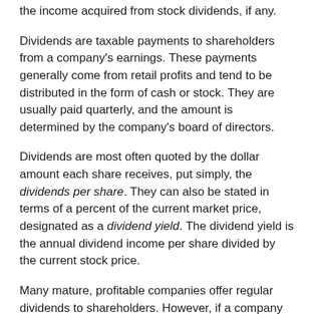the income acquired from stock dividends, if any.
Dividends are taxable payments to shareholders from a company's earnings. These payments generally come from retail profits and tend to be distributed in the form of cash or stock. They are usually paid quarterly, and the amount is determined by the company's board of directors.
Dividends are most often quoted by the dollar amount each share receives, put simply, the dividends per share. They can also be stated in terms of a percent of the current market price, designated as a dividend yield. The dividend yield is the annual dividend income per share divided by the current stock price.
Many mature, profitable companies offer regular dividends to shareholders. However, if a company experiences losses during the year or needs any earnings to be reinvested back into the business, it's always possible that it could decide to suspend dividends. Earnings can be influenced by economic, market, and political events. It's important to remember that a company can decide to increase,